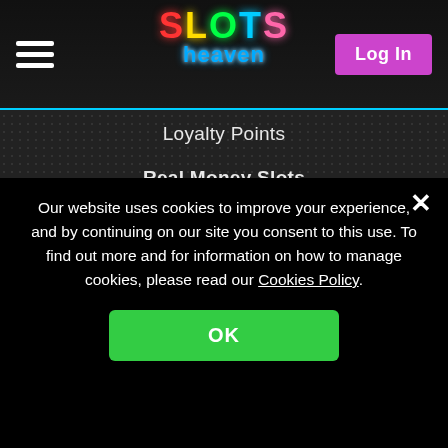Slots Heaven — navigation header with hamburger menu, logo, and Log In button
Loyalty Points
Real Money Slots
Casino Glossary
Affiliates
We Buy Media
Slots Heaven
Slots Heaven UK
Slots Heaven Canada
Slots Heaven Ireland
Slots Heaven Africa
Slots Heaven Argentina
Slots Heaven Mexico
Our website uses cookies to improve your experience, and by continuing on our site you consent to this use. To find out more and for information on how to manage cookies, please read our Cookies Policy.
OK